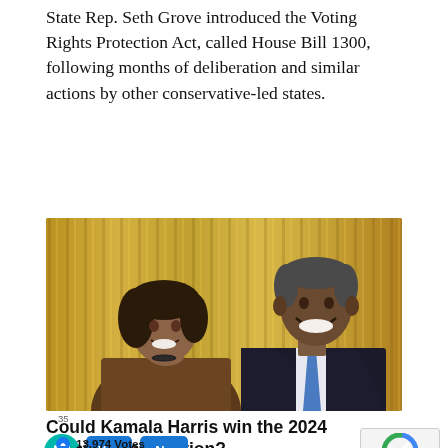State Rep. Seth Grove introduced the Voting Rights Protection Act, called House Bill 1300, following months of deliberation and similar actions by other conservative-led states.
[Figure (photo): Photo of Kamala Harris and Barack Obama smiling together, standing in front of yellow curtains, likely at a formal event.]
Could Kamala Harris win the 2024 presidential election?
35
Yes  No
13,974 Votes